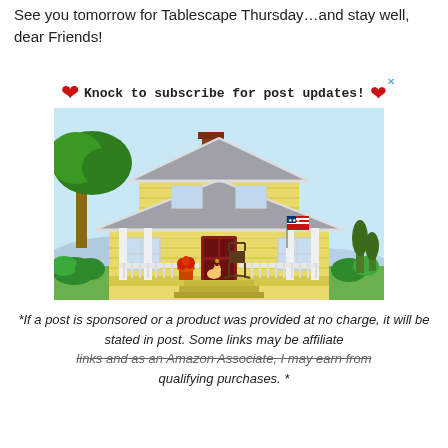See you tomorrow for Tablescape Thursday…and stay well, dear Friends!
[Figure (infographic): Subscribe banner with red hearts and text 'Knock to subscribe for post updates!' above an illustration of a yellow craftsman house with a red front door, American flag, porch with rocking chair, trees and green bushes, blue sky background.]
*If a post is sponsored or a product was provided at no charge, it will be stated in post. Some links may be affiliate links and as an Amazon Associate, I may earn from qualifying purchases. *